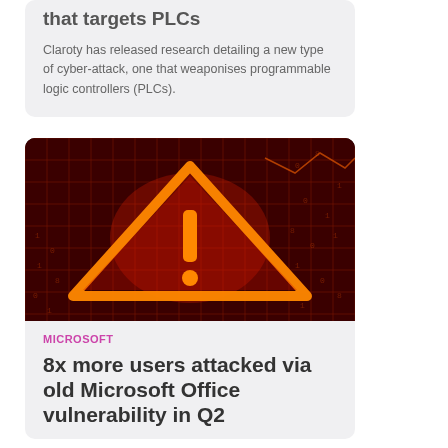that targets PLCs
Claroty has released research detailing a new type of cyber-attack, one that weaponises programmable logic controllers (PLCs).
[Figure (photo): A glowing orange warning triangle with an exclamation mark on a dark red digital grid background with binary numbers]
MICROSOFT
8x more users attacked via old Microsoft Office vulnerability in Q2